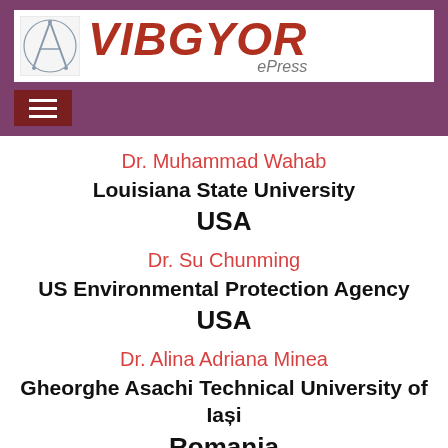[Figure (logo): VIBGYOR ePress logo with compass/drafting tool icon on left and stylized red VIBGYOR text with grey ePress subtitle]
Dr. Muhammad Wahab
Louisiana State University
USA
Dr. Su Chunming
US Environmental Protection Agency
USA
Dr. Alina Adriana Minea
Gheorghe Asachi Technical University of Iași
Romania
Dr. Hao Ying Li